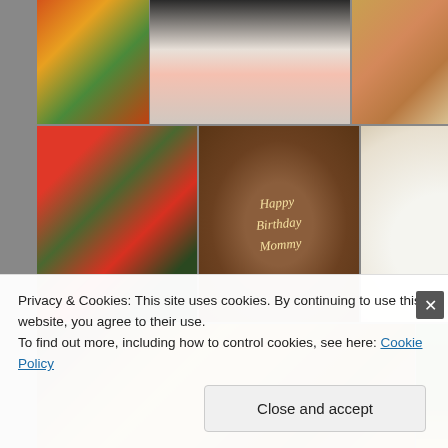[Figure (photo): Food photo collage grid showing various dishes: vegetable stir fry, strawberry on white plate, cookies/baked goods, spinach and tomato salad, Happy Birthday Mommy chocolate cake, oatmeal with blueberries, bruschetta/tomato toasts, chocolate chip cookies on rack, butternut squash outdoors]
Privacy & Cookies: This site uses cookies. By continuing to use this website, you agree to their use.
To find out more, including how to control cookies, see here: Cookie Policy
Close and accept